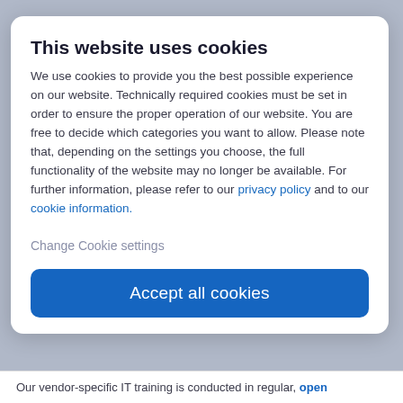This website uses cookies
We use cookies to provide you the best possible experience on our website. Technically required cookies must be set in order to ensure the proper operation of our website. You are free to decide which categories you want to allow. Please note that, depending on the settings you choose, the full functionality of the website may no longer be available. For further information, please refer to our privacy policy and to our cookie information.
Change Cookie settings
Accept all cookies
Our vendor-specific IT training is conducted in regular, open